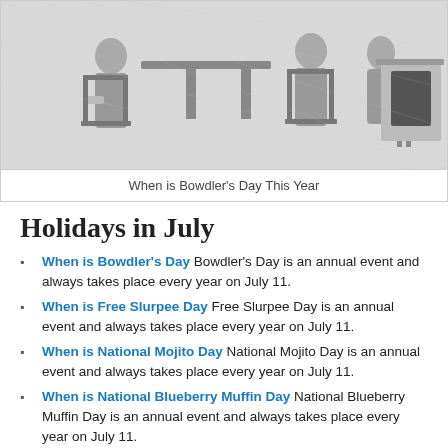[Figure (illustration): Black and white engraving/illustration of people seated around a table in a Victorian-era indoor scene with a dog near a fireplace]
When is Bowdler's Day This Year
Holidays in July
When is Bowdler's Day Bowdler's Day is an annual event and always takes place every year on July 11.
When is Free Slurpee Day Free Slurpee Day is an annual event and always takes place every year on July 11.
When is National Mojito Day National Mojito Day is an annual event and always takes place every year on July 11.
When is National Blueberry Muffin Day National Blueberry Muffin Day is an annual event and always takes place every year on July 11.
When is National Cheer up the Lonely Day National Cheer up the Lonely Day is an annual event and always takes place every year on July 11.